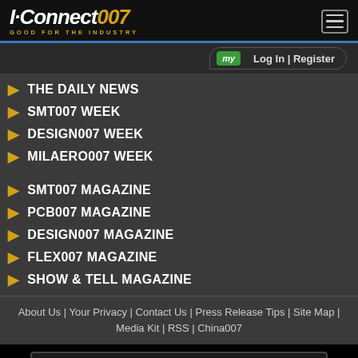[Figure (logo): I-Connect007 logo with tagline GOOD FOR THE INDUSTRY and hamburger menu icon]
THE DAILY NEWS
SMT007 WEEK
DESIGN007 WEEK
MILAERO007 WEEK
SMT007 MAGAZINE
PCB007 MAGAZINE
DESIGN007 MAGAZINE
FLEX007 MAGAZINE
SHOW & TELL MAGAZINE
About Us | Your Privacy | Contact Us | Press Release Tips | Site Map | Media Kit | RSS | China007
[Figure (logo): I-007e Books banner: Books on the go... download now!]